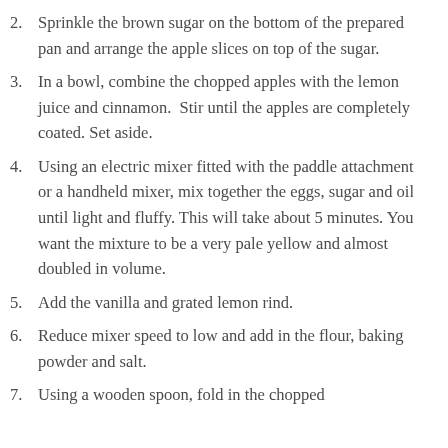2. Sprinkle the brown sugar on the bottom of the prepared pan and arrange the apple slices on top of the sugar.
3. In a bowl, combine the chopped apples with the lemon juice and cinnamon.  Stir until the apples are completely coated. Set aside.
4. Using an electric mixer fitted with the paddle attachment or a handheld mixer, mix together the eggs, sugar and oil until light and fluffy. This will take about 5 minutes. You want the mixture to be a very pale yellow and almost doubled in volume.
5. Add the vanilla and grated lemon rind.
6. Reduce mixer speed to low and add in the flour, baking powder and salt.
7. Using a wooden spoon, fold in the chopped